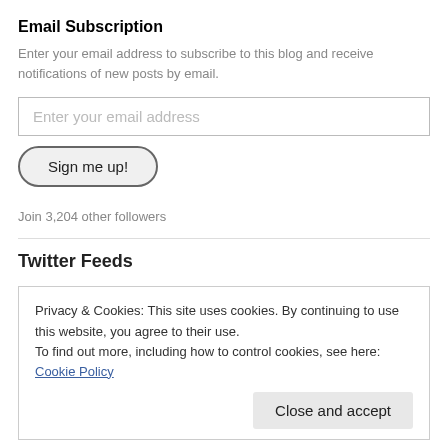Email Subscription
Enter your email address to subscribe to this blog and receive notifications of new posts by email.
Enter your email address
Sign me up!
Join 3,204 other followers
Twitter Feeds
Privacy & Cookies: This site uses cookies. By continuing to use this website, you agree to their use.
To find out more, including how to control cookies, see here: Cookie Policy
Close and accept